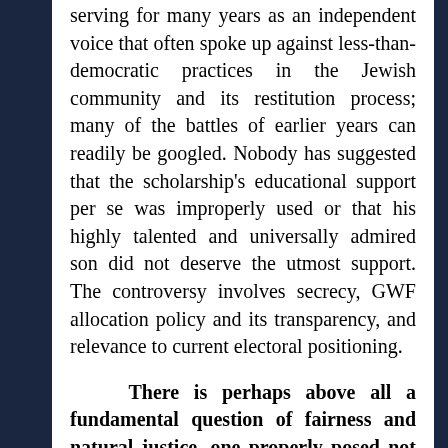serving for many years as an independent voice that often spoke up against less-than-democratic practices in the Jewish community and its restitution process; many of the battles of earlier years can readily be googled. Nobody has suggested that the scholarship's educational support per se was improperly used or that his highly talented and universally admired son did not deserve the utmost support. The controversy involves secrecy, GWF allocation policy and its transparency, and relevance to current electoral positioning.
There is perhaps above all a fundamental question of fairness and natural justice, one properly posed not to Mr. Vinokuras, but to the Community's decision-makers involved and their Good Will Foundation enablers: Was there a publicly advertised competition in which less illustrious “everyday” members of the community could set forward their children’s